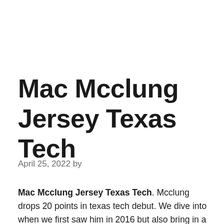Mac Mcclung Jersey Texas Tech
April 25, 2022 by
Mac Mcclung Jersey Texas Tech. Mcclung drops 20 points in texas tech debut. We dive into when we first saw him in 2016 but also bring in a special guest, ben golan, from redraiderssports.com (rivals.